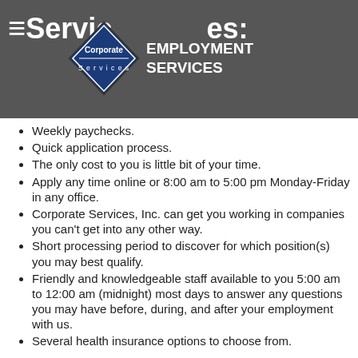Services:
[Figure (logo): Corporate Services diamond-shaped logo with 'Corporate Services' text inside, next to 'EMPLOYMENT SERVICES' heading in white on dark background]
Weekly paychecks.
Quick application process.
The only cost to you is little bit of your time.
Apply any time online or 8:00 am to 5:00 pm Monday-Friday in any office.
Corporate Services, Inc. can get you working in companies you can't get into any other way.
Short processing period to discover for which position(s) you may best qualify.
Friendly and knowledgeable staff available to you 5:00 am to 12:00 am (midnight) most days to answer any questions you may have before, during, and after your employment with us.
Several health insurance options to choose from.